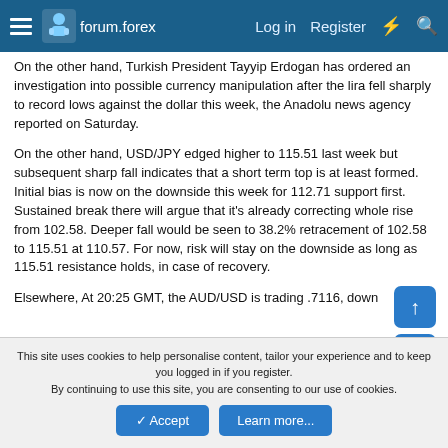forum.forex — Log in | Register
On the other hand, Turkish President Tayyip Erdogan has ordered an investigation into possible currency manipulation after the lira fell sharply to record lows against the dollar this week, the Anadolu news agency reported on Saturday.
On the other hand, USD/JPY edged higher to 115.51 last week but subsequent sharp fall indicates that a short term top is at least formed. Initial bias is now on the downside this week for 112.71 support first. Sustained break there will argue that it's already correcting whole rise from 102.58. Deeper fall would be seen to 38.2% retracement of 102.58 to 115.51 at 110.57. For now, risk will stay on the downside as long as 115.51 resistance holds, in case of recovery.
Elsewhere, At 20:25 GMT, the AUD/USD is trading .7116, down
This site uses cookies to help personalise content, tailor your experience and to keep you logged in if you register.
By continuing to use this site, you are consenting to our use of cookies.